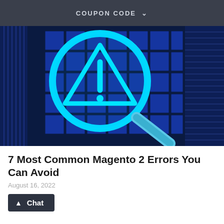COUPON CODE
[Figure (illustration): Blue magnifying glass containing a warning triangle with exclamation mark, set against a dark blue 3D cube grid background]
7 Most Common Magento 2 Errors You Can Avoid
August 16, 2022
Chat